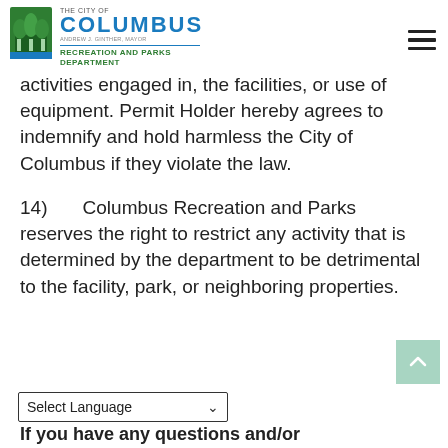The City of Columbus - Recreation and Parks Department
activities engaged in, the facilities, or use of equipment. Permit Holder hereby agrees to indemnify and hold harmless the City of Columbus if they violate the law.
14)    Columbus Recreation and Parks reserves the right to restrict any activity that is determined by the department to be detrimental to the facility, park, or neighboring properties.
If you have any questions and/or